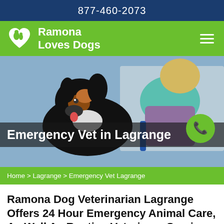877-460-2073
[Figure (logo): Ramona Loves Dogs logo with heart icon containing dog and person silhouette, green background navigation bar with hamburger menu]
[Figure (photo): Hero image of a black and tan Sheltie/Collie dog being groomed in a veterinary setting, with a blonde person in background. Text overlay reads 'Emergency Vet in Lagrange' with a green phone call button.]
Home > Lagrange > Emergency Vet Lagrange
Ramona Dog Veterinarian Lagrange Offers 24 Hour Emergency Animal Care, As Well As Routine Veterinary Services